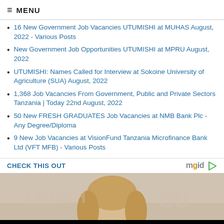≡ MENU
16 New Government Job Vacancies UTUMISHI at MUHAS August, 2022 - Various Posts
New Government Job Opportunities UTUMISHI at MPRU August, 2022
UTUMISHI: Names Called for Interview at Sokoine University of Agriculture (SUA) August, 2022
1,368 Job Vacancies From Government, Public and Private Sectors Tanzania | Today 22nd August, 2022
50 New FRESH GRADUATES Job Vacancies at NMB Bank Plc - Any Degree/Diploma
9 New Job Vacancies at VisionFund Tanzania Microfinance Bank Ltd (VFT MFB) - Various Posts
CHECK THIS OUT
[Figure (photo): Advertisement banner showing a person with blonde hair, with MGID logo. Contains text: INSTALL APP YETU ⇒ BONYEZA HAPA]